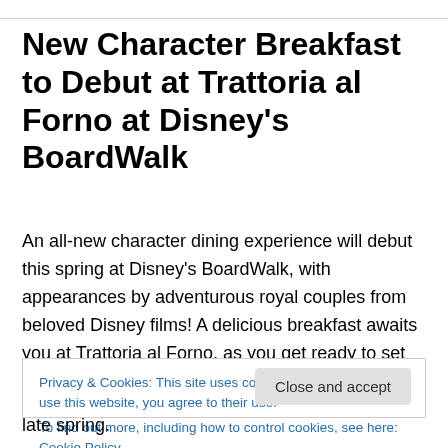New Character Breakfast to Debut at Trattoria al Forno at Disney's BoardWalk
An all-new character dining experience will debut this spring at Disney's BoardWalk, with appearances by adventurous royal couples from beloved Disney films! A delicious breakfast awaits you at Trattoria al Forno, as you get ready to set out for a day of endless magic at Walt
Privacy & Cookies: This site uses cookies. By continuing to use this website, you agree to their use.
To find out more, including how to control cookies, see here: Cookie Policy
late spring.